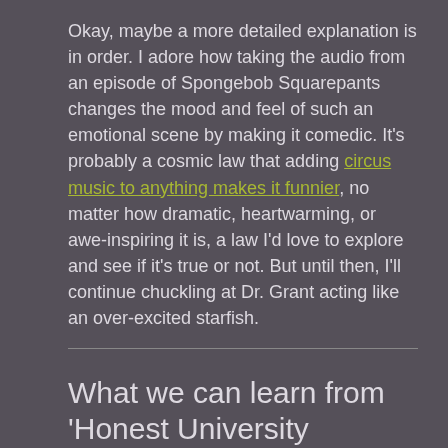Okay, maybe a more detailed explanation is in order. I adore how taking the audio from an episode of Spongebob Squarepants changes the mood and feel of such an emotional scene by making it comedic. It's probably a cosmic law that adding circus music to anything makes it funnier, no matter how dramatic, heartwarming, or awe-inspiring it is, a law I'd love to explore and see if it's true or not. But until then, I'll continue chuckling at Dr. Grant acting like an over-excited starfish.
What we can learn from 'Honest University Commercial'